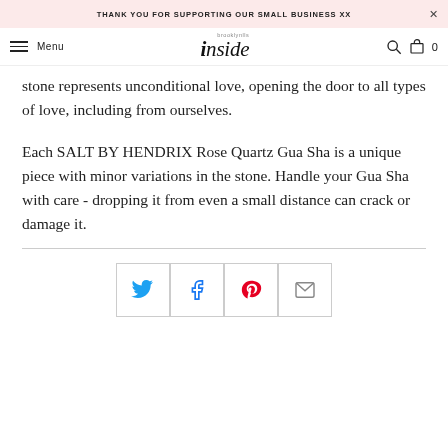THANK YOU FOR SUPPORTING OUR SMALL BUSINESS XX
Menu | inside | 0
stone represents unconditional love, opening the door to all types of love, including from ourselves.
Each SALT BY HENDRIX Rose Quartz Gua Sha is a unique piece with minor variations in the stone. Handle your Gua Sha with care - dropping it from even a small distance can crack or damage it.
[Figure (infographic): Social sharing icons row: Twitter (blue bird), Facebook (blue f), Pinterest (red P), Email (envelope)]